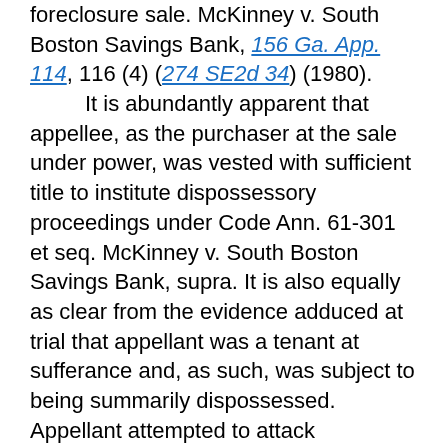foreclosure sale. McKinney v. South Boston Savings Bank, 156 Ga. App. 114, 116 (4) (274 SE2d 34) (1980).

It is abundantly apparent that appellee, as the purchaser at the sale under power, was vested with sufficient title to institute dispossessory proceedings under Code Ann. 61-301 et seq. McKinney v. South Boston Savings Bank, supra. It is also equally as clear from the evidence adduced at trial that appellant was a tenant at sufferance and, as such, was subject to being summarily dispossessed. Appellant attempted to attack appellee's title to the premises but such an attack is not permissible in a